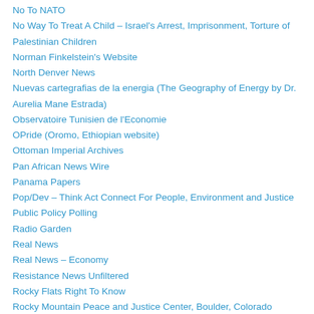No To NATO
No Way To Treat A Child – Israel's Arrest, Imprisonment, Torture of Palestinian Children
Norman Finkelstein's Website
North Denver News
Nuevas cartegrafias de la energia (The Geography of Energy by Dr. Aurelia Mane Estrada)
Observatoire Tunisien de l'Economie
OPride (Oromo, Ethiopian website)
Ottoman Imperial Archives
Pan African News Wire
Panama Papers
Pop/Dev – Think Act Connect For People, Environment and Justice
Public Policy Polling
Radio Garden
Real News
Real News – Economy
Resistance News Unfiltered
Rocky Flats Right To Know
Rocky Mountain Peace and Justice Center, Boulder, Colorado